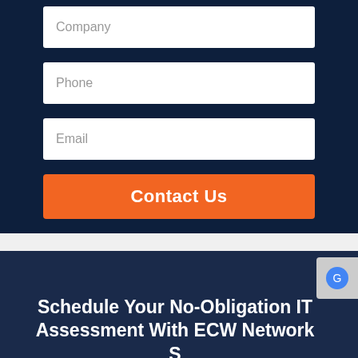[Figure (screenshot): Web contact form with Company, Phone, Email fields and Contact Us button on dark navy background]
Schedule Your No-Obligation IT Assessment With ECW Network S...
Real Person Online!